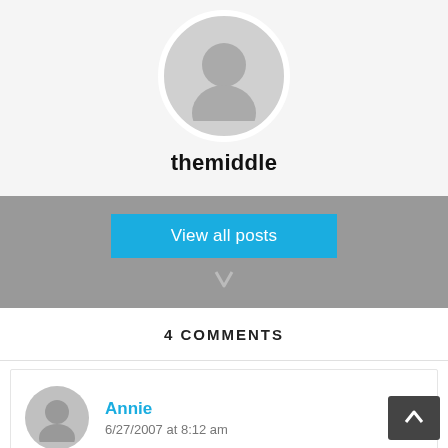[Figure (illustration): Gray circular avatar/profile placeholder icon with silhouette of a person, white border, on light gray background]
themiddle
View all posts
4 COMMENTS
[Figure (illustration): Small gray circular avatar/profile placeholder icon]
Annie
6/27/2007 at 8:12 am
It's a very difficult issue, how much lives are worth in